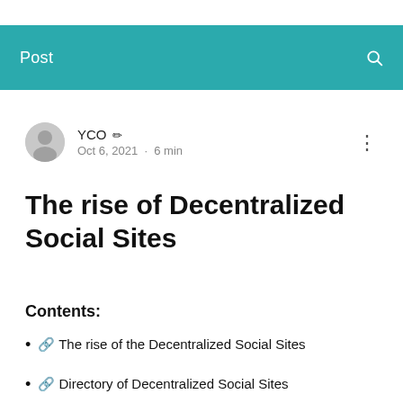Post
YCO · Oct 6, 2021 · 6 min
The rise of Decentralized Social Sites
Contents:
🔗 The rise of the Decentralized Social Sites
🔗 Directory of Decentralized Social Sites